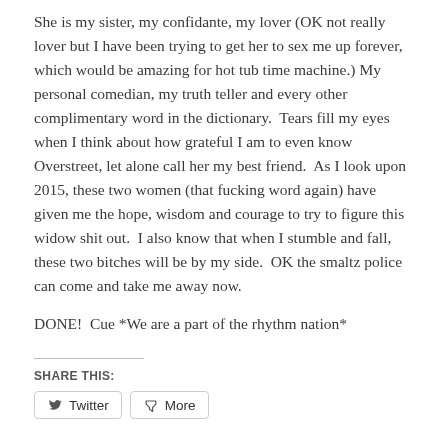She is my sister, my confidante, my lover (OK not really lover but I have been trying to get her to sex me up forever, which would be amazing for hot tub time machine.) My personal comedian, my truth teller and every other complimentary word in the dictionary.  Tears fill my eyes when I think about how grateful I am to even know Overstreet, let alone call her my best friend.  As I look upon 2015, these two women (that fucking word again) have given me the hope, wisdom and courage to try to figure this widow shit out.  I also know that when I stumble and fall, these two bitches will be by my side.  OK the smaltz police can come and take me away now.
DONE!  Cue *We are a part of the rhythm nation*
SHARE THIS:
[Figure (other): Social sharing buttons: Twitter and More]